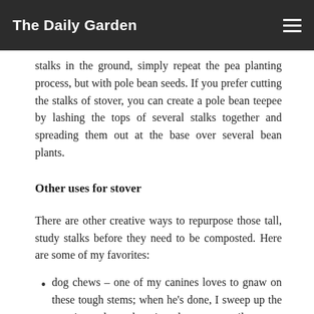The Daily Garden
stalks in the ground, simply repeat the pea planting process, but with pole bean seeds. If you prefer cutting the stalks of stover, you can create a pole bean teepee by lashing the tops of several stalks together and spreading them out at the base over several bean plants.
Other uses for stover
There are other creative ways to repurpose those tall, study stalks before they need to be composted. Here are some of my favorites:
dog chews – one of my canines loves to gnaw on these tough stems; when he's done, I sweep up the remains and toss them into the compost pile
chicken run flooring – I leave my sunflower